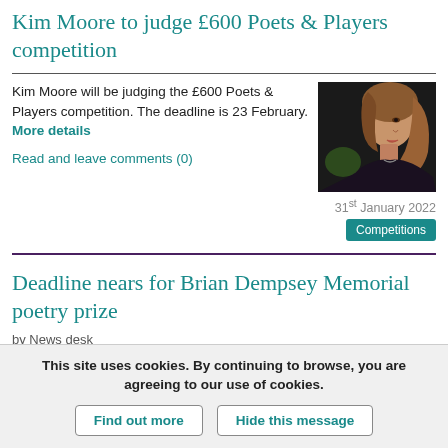Kim Moore to judge £600 Poets & Players competition
Kim Moore will be judging the £600 Poets & Players competition. The deadline is 23 February. More details
Read and leave comments (0)
[Figure (photo): Portrait photo of a woman with brown hair, facing sideways, in dark clothing]
31st January 2022
Competitions
Deadline nears for Brian Dempsey Memorial poetry prize
by News desk
This site uses cookies. By continuing to browse, you are agreeing to our use of cookies.
Find out more
Hide this message